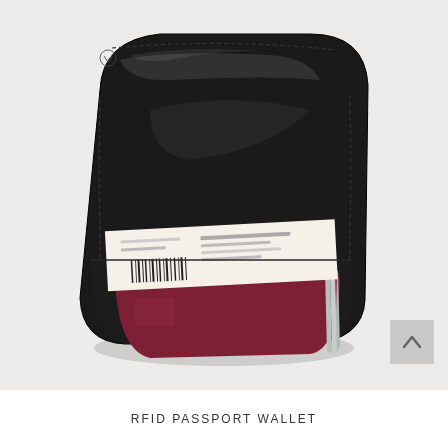[Figure (photo): A black leather RFID passport wallet shown at an angle, open at the top with a red passport and boarding pass/documents visible inside. The wallet is photographed on a light grey/white background.]
RFID PASSPORT WALLET